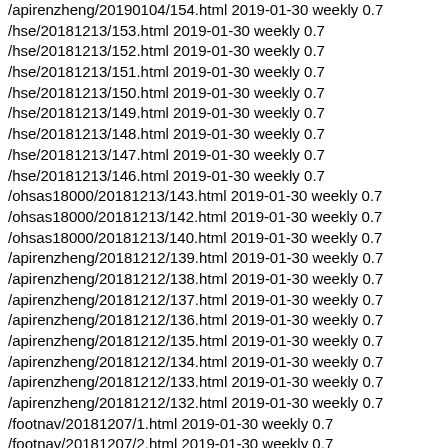/apirenzheng/20190104/154.html 2019-01-30 weekly 0.7
/hse/20181213/153.html 2019-01-30 weekly 0.7
/hse/20181213/152.html 2019-01-30 weekly 0.7
/hse/20181213/151.html 2019-01-30 weekly 0.7
/hse/20181213/150.html 2019-01-30 weekly 0.7
/hse/20181213/149.html 2019-01-30 weekly 0.7
/hse/20181213/148.html 2019-01-30 weekly 0.7
/hse/20181213/147.html 2019-01-30 weekly 0.7
/hse/20181213/146.html 2019-01-30 weekly 0.7
/ohsas18000/20181213/143.html 2019-01-30 weekly 0.7
/ohsas18000/20181213/142.html 2019-01-30 weekly 0.7
/ohsas18000/20181213/140.html 2019-01-30 weekly 0.7
/apirenzheng/20181212/139.html 2019-01-30 weekly 0.7
/apirenzheng/20181212/138.html 2019-01-30 weekly 0.7
/apirenzheng/20181212/137.html 2019-01-30 weekly 0.7
/apirenzheng/20181212/136.html 2019-01-30 weekly 0.7
/apirenzheng/20181212/135.html 2019-01-30 weekly 0.7
/apirenzheng/20181212/134.html 2019-01-30 weekly 0.7
/apirenzheng/20181212/133.html 2019-01-30 weekly 0.7
/apirenzheng/20181212/132.html 2019-01-30 weekly 0.7
/footnav/20181207/1.html 2019-01-30 weekly 0.7
/footnav/20181207/2.html 2019-01-30 weekly 0.7
/footnav/20181207/3.html 2019-01-30 weekly 0.7
/footnav/20181207/4.html 2019-01-30 weekly 0.7
/footnav/20181207/5.html 2019-01-30 weekly 0.7
/footnav/20181207/6.html 2019-01-30 weekly 0.7